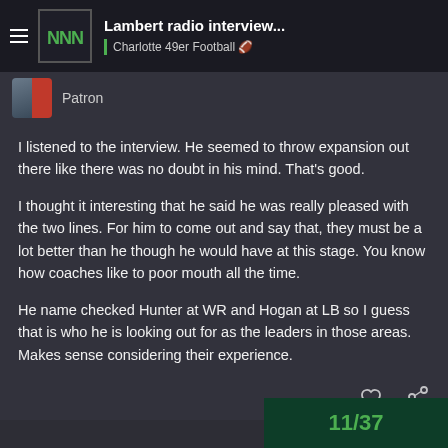Lambert radio interview... | Charlotte 49er Football 🏈
Patron
I listened to the interview. He seemed to throw expansion out there like there was no doubt in his mind. That's good.

I thought it interesting that he said he was really pleased with the two lines. For him to come out and say that, they must be a lot better than he though he would have at this stage. You know how coaches like to poor mouth all the time.

He name checked Hunter at WR and Hogan at LB so I guess that is who he is looking out for as the leaders in those areas. Makes sense considering their experience.
11 / 37